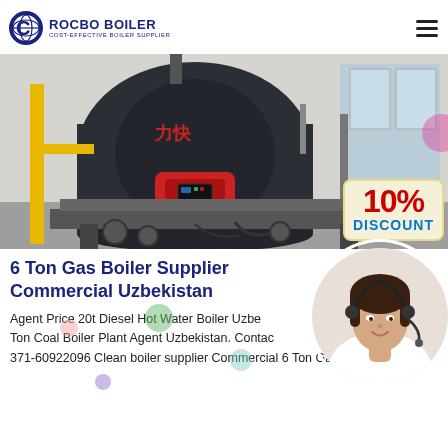ROCBO BOILER — COST-EFFECTIVE BOILER SUPPLIER
[Figure (photo): Industrial gas boiler (large dark cylindrical vessel with red burner) in a factory/warehouse setting, with a '10% DISCOUNT' badge overlay in the bottom right corner.]
6 Ton Gas Boiler Supplier Commercial Uzbekistan
Agent Price 20t Diesel Hot Water Boiler Uzbekistan. Ton Coal Boiler Plant Agent Uzbekistan. Contact 371-60922096 Clean boiler supplier Commercial 6 Ton Gas Boiler